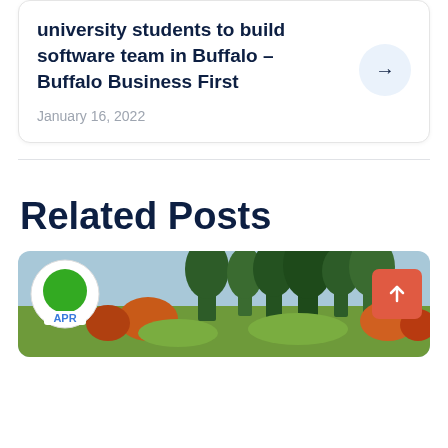university students to build software team in Buffalo – Buffalo Business First
January 16, 2022
Related Posts
[Figure (photo): Autumn landscape with green grass, trees with fall foliage, and a calendar icon showing APR in the lower left, plus a red scroll-to-top button on the right]